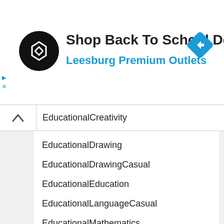[Figure (logo): Advertisement banner with black circular logo with arrow symbol, text 'Shop Back To School Deals' and subtitle 'Leesburg Premium Outlets', blue diamond navigation icon on right]
EducationalCreativity
EducationalDrawing
EducationalDrawingCasual
EducationalEducation
EducationalLanguageCasual
EducationalMathematics
EducationalMathematicsCasual
EducationalMusic & Video